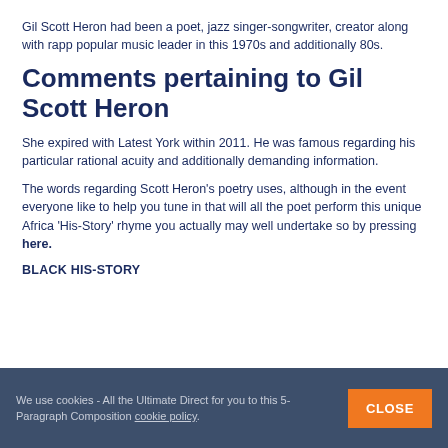Gil Scott Heron had been a poet, jazz singer-songwriter, creator along with rapp popular music leader in this 1970s and additionally 80s.
Comments pertaining to Gil Scott Heron
She expired with Latest York within 2011. He was famous regarding his particular rational acuity and additionally demanding information.
The words regarding Scott Heron’s poetry uses, although in the event everyone like to help you tune in that will all the poet perform this unique Africa ‘His-Story’ rhyme you actually may well undertake so by pressing here.
BLACK HIS-STORY
We use cookies - All the Ultimate Direct for you to this 5-Paragraph Composition cookie policy. CLOSE